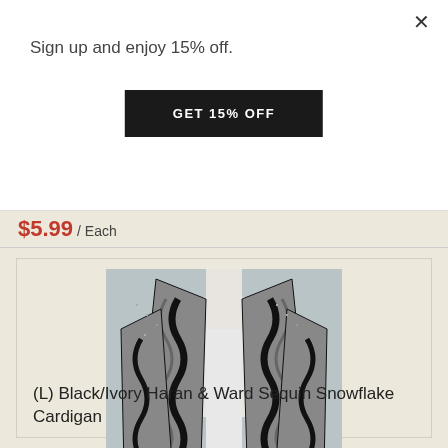×
Sign up and enjoy 15% off.
GET 15% OFF
$5.99 / Each
[Figure (photo): A black and ivory sequin snowflake patterned open-front cardigan displayed on a mannequin torso against a light grey background.]
(L) Black/Ivory Haran & Ward Sequin Snowflake Cardigan